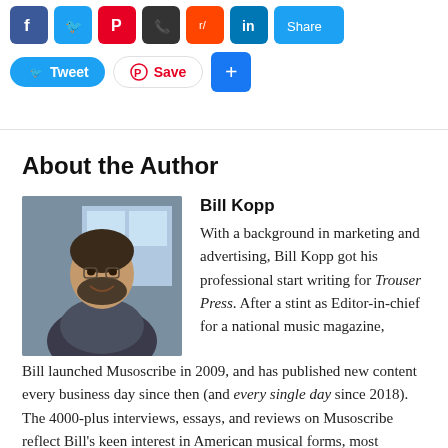[Figure (screenshot): Social media sharing buttons row including Facebook, Twitter, Pinterest, phone, Reddit, LinkedIn, and a share button]
[Figure (screenshot): Tweet button, Save (Pinterest) button, and blue plus/share button]
About the Author
[Figure (photo): Photo of Bill Kopp, a middle-aged man with dark hair and beard, indoors]
Bill Kopp
With a background in marketing and advertising, Bill Kopp got his professional start writing for Trouser Press. After a stint as Editor-in-chief for a national music magazine, Bill launched Musoscribe in 2009, and has published new content every business day since then (and every single day since 2018). The 4000-plus interviews, essays, and reviews on Musoscribe reflect Bill's keen interest in American musical forms, most notably rock, jazz, and soul. His work features a special emphasis on reissues and vinyl. Bill's work also appears in many other outlets both online and in print. He